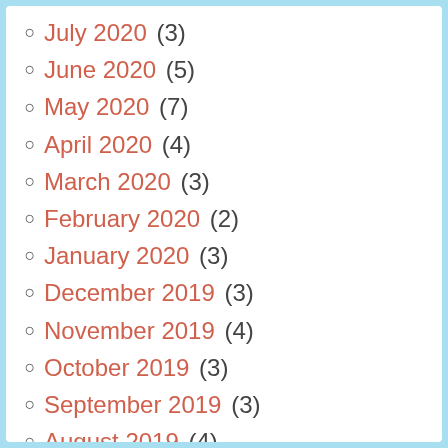July 2020 (3)
June 2020 (5)
May 2020 (7)
April 2020 (4)
March 2020 (3)
February 2020 (2)
January 2020 (3)
December 2019 (3)
November 2019 (4)
October 2019 (3)
September 2019 (3)
August 2019 (4)
July 2019 (6)
June 2019 (7)
May 2019 (7)